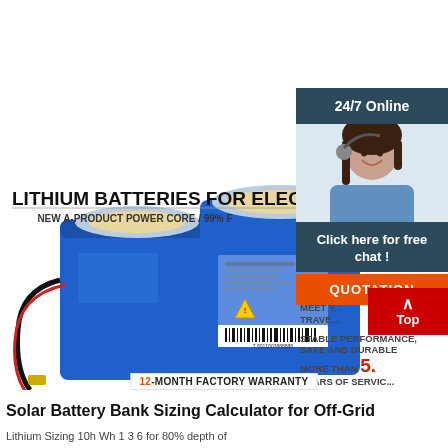[Figure (photo): Product photo of two blue lithium battery packs with wiring, shown against white background. Text overlay reads LITHIUM BATTERIES FOR ELECTRIC and NEW A-PRODUCT POWER CORE / 99% R. Right side shows HIGH-C... LITHIU... MEET Y... TRAVE... STABLE PERFORMANCE SAFE AND DURABLE, MORE THAN 5. YEARS OF SERVIC. A customer service woman with headset is shown in upper right with 24/7 Online badge, Click here for free chat!, and QUOTATION button. A 12-MONTH FACTORY WARRANTY banner is shown near bottom.]
Solar Battery Bank Sizing Calculator for Off-Grid
Lithium Sizing 10h Wh 1 3 6 for 80% depth of